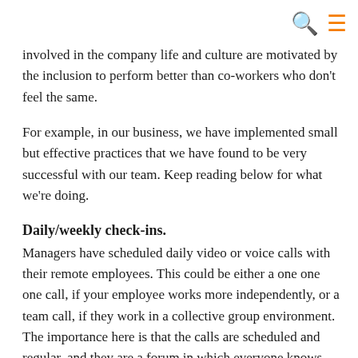involved in the company life and culture are motivated by the inclusion to perform better than co-workers who don't feel the same.
For example, in our business, we have implemented small but effective practices that we have found to be very successful with our team. Keep reading below for what we're doing.
Daily/weekly check-ins.
Managers have scheduled daily video or voice calls with their remote employees. This could be either a one one one call, if your employee works more independently, or a team call, if they work in a collective group environment. The importance here is that the calls are scheduled and regular, and they are a forum in which everyone knows they can talk to you, share any concerns, pushbacks they are having and that any questions will be addressed. This is also a great way to share the wins your